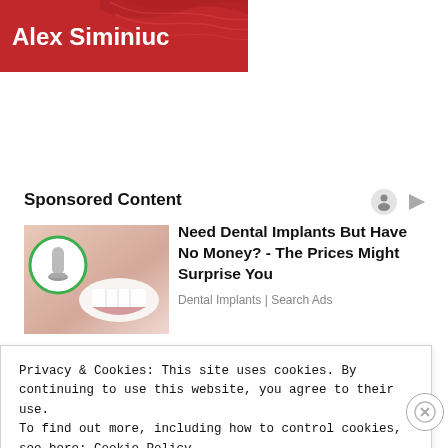[Figure (logo): Red banner with white text reading 'Alex Siminiuc' and decorative wave pattern in background]
Sponsored Content
[Figure (photo): Dental implant advertisement showing a smiling woman with a dental implant icon in a green-bordered circle]
Need Dental Implants But Have No Money? - The Prices Might Surprise You
Dental Implants | Search Ads
Privacy & Cookies: This site uses cookies. By continuing to use this website, you agree to their use.
To find out more, including how to control cookies, see here: Cookie Policy
Close and accept